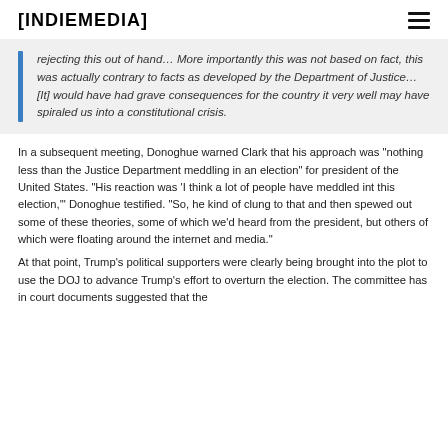[INDIEMEDIA]
rejecting this out of hand... More importantly this was not based on fact, this was actually contrary to facts as developed by the Department of Justice... [It] would have had grave consequences for the country it very well may have spiraled us into a constitutional crisis.
In a subsequent meeting, Donoghue warned Clark that his approach was “nothing less than the Justice Department meddling in an election” for president of the United States. “His reaction was ‘I think a lot of people have meddled int this election,’” Donoghue testified. “So, he kind of clung to that and then spewed out some of these theories, some of which we’d heard from the president, but others of which were floating around the internet and media.”
At that point, Trump’s political supporters were clearly being brought into the plot to use the DOJ to advance Trump’s effort to overturn the election. The committee has in court documents suggested that the